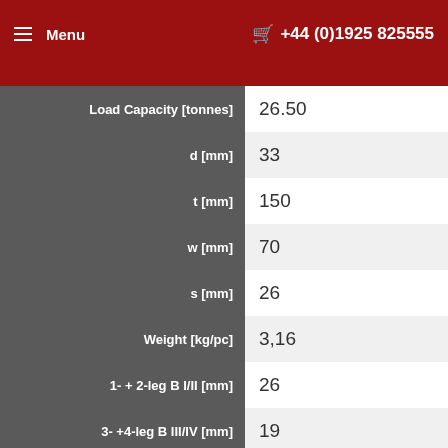Menu  +44 (0)1925 825555
| Parameter | Value |
| --- | --- |
| Load Capacity [tonnes] | 26.50 |
| d [mm] | 33 |
| t [mm] | 150 |
| w [mm] | 70 |
| s [mm] | 26 |
| Weight [kg/pc] | 3,16 |
| 1- + 2-leg B I/II [mm] | 26 |
| 3- +4-leg B III/IV [mm] | 19 |
BW 36
| Parameter | Value |
| --- | --- |
| Load Capacity [tonnes] | 21.00 |